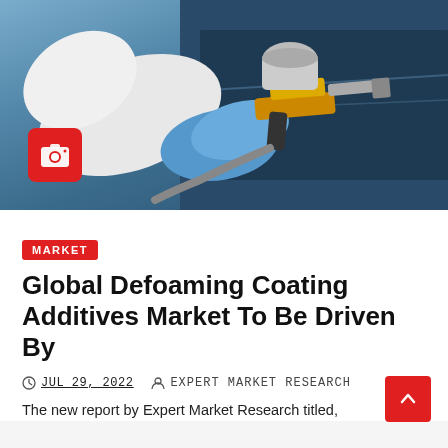[Figure (photo): A person in white protective suit and blue gloves using a spray paint gun to paint a car surface. A red camera icon overlay is visible in the lower left of the image.]
MARKET
Global Defoaming Coating Additives Market To Be Driven By
JUL 29, 2022   EXPERT MARKET RESEARCH
The new report by Expert Market Research titled,